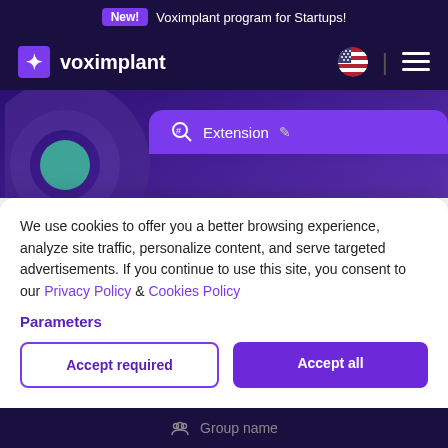New! Voximplant program for Startups!
[Figure (screenshot): Voximplant logo with puzzle piece icon and navigation bar with US flag and hamburger menu]
[Figure (screenshot): Purple hero area with circular decorative element and Extension tab UI]
We use cookies to offer you a better browsing experience, analyze site traffic, personalize content, and serve targeted advertisements. If you continue to use this site, you consent to our Privacy Policy & Cookies Policy
Parameters
Accept required
Accept all
Group name